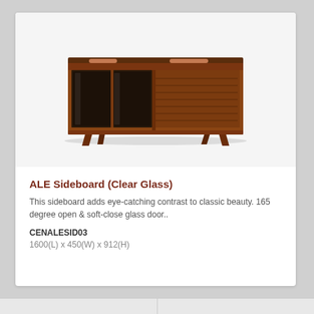[Figure (photo): A mid-century modern walnut sideboard with copper-toned handles, glass sliding doors on the left section and a solid wood panel door on the right, raised on tapered legs.]
ALE Sideboard (Clear Glass)
This sideboard adds eye-catching contrast to classic beauty. 165 degree open & soft-close glass door..
CENALESID03
1600(L) x 450(W) x 912(H)